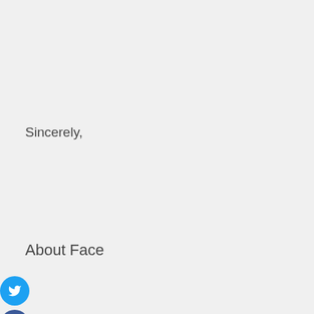Sincerely,
About Face
American Family Voices
AVAAZ
CODEPINK